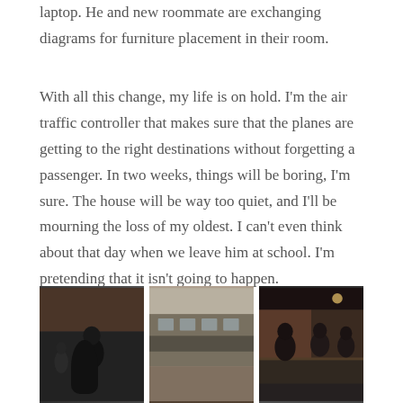laptop. He and new roommate are exchanging diagrams for furniture placement in their room.
With all this change, my life is on hold. I'm the air traffic controller that makes sure that the planes are getting to the right destinations without forgetting a passenger. In two weeks, things will be boring, I'm sure. The house will be way too quiet, and I'll be mourning the loss of my oldest. I can't even think about that day when we leave him at school. I'm pretending that it isn't going to happen.
[Figure (photo): Three side-by-side photos: first shows a person in a dark indoor setting, second shows an outdoor restaurant/bar exterior, third shows people sitting at a bar/restaurant interior.]